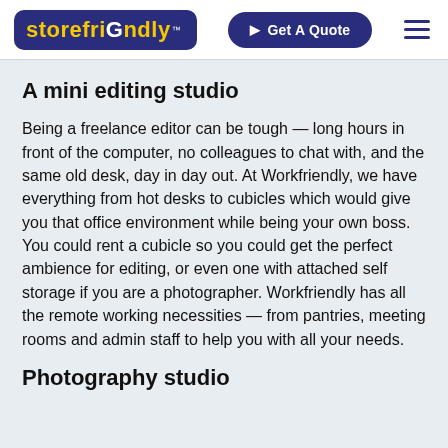[Figure (logo): Storefriendly logo on dark blue rounded rectangle with yellow text and white 'G' character, with TM mark]
[Figure (other): Get A Quote button, dark blue rounded pill shape with cursor icon and white text]
[Figure (other): Hamburger menu icon with three horizontal lines]
A mini editing studio
Being a freelance editor can be tough — long hours in front of the computer, no colleagues to chat with, and the same old desk, day in day out. At Workfriendly, we have everything from hot desks to cubicles which would give you that office environment while being your own boss. You could rent a cubicle so you could get the perfect ambience for editing, or even one with attached self storage if you are a photographer. Workfriendly has all the remote working necessities — from pantries, meeting rooms and admin staff to help you with all your needs.
Photography studio